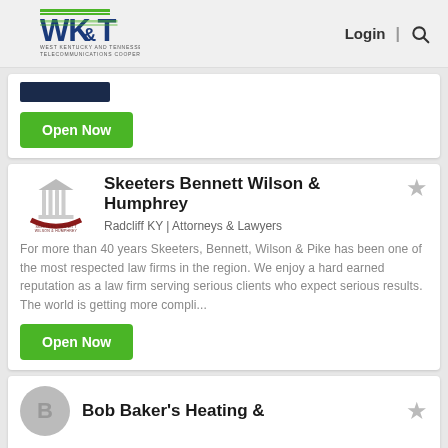WK&T West Kentucky and Tennessee Telecommunications Cooperative | Login | Search
[Figure (other): Dark navy blue rectangular bar, partially visible]
Open Now
[Figure (logo): Skeeters Bennett Wilson & Humphrey law firm logo with columns and red arc]
Skeeters Bennett Wilson & Humphrey
Radcliff KY | Attorneys & Lawyers
For more than 40 years Skeeters, Bennett, Wilson & Pike has been one of the most respected law firms in the region. We enjoy a hard earned reputation as a law firm serving serious clients who expect serious results. The world is getting more compli...
Open Now
Bob Baker's Heating &